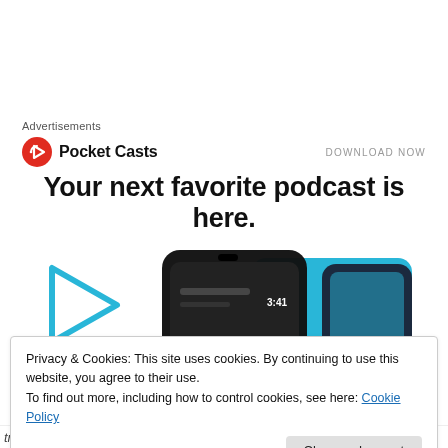Advertisements
[Figure (logo): Pocket Casts logo — red circle with white headphone/play icon, followed by bold text 'Pocket Casts'. To the right: 'DOWNLOAD NOW' in uppercase gray.]
Your next favorite podcast is here.
[Figure (screenshot): Pocket Casts app screenshots on smartphones with blue graphic elements in the background, partially visible.]
Privacy & Cookies: This site uses cookies. By continuing to use this website, you agree to their use.
To find out more, including how to control cookies, see here: Cookie Policy
Close and accept
trust that even if I'm wrong, You'll somehow make it right.